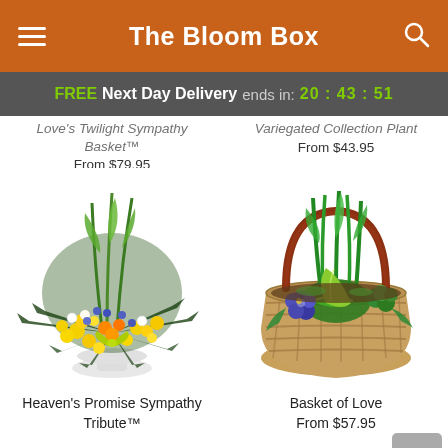The Bloom Box
FREE Next Day Delivery ends in: 20:43:51
Love's Twilight Sympathy Basket™
From $79.95
Variegated Collection Plant
From $43.95
[Figure (photo): Heaven's Promise Sympathy Tribute floral arrangement - yellow and blue flowers in a white pedestal vase with tropical greenery]
[Figure (photo): Basket of Love - green plants with purple flowers in a woven basket]
Heaven's Promise Sympathy Tribute™
Basket of Love
From $57.95